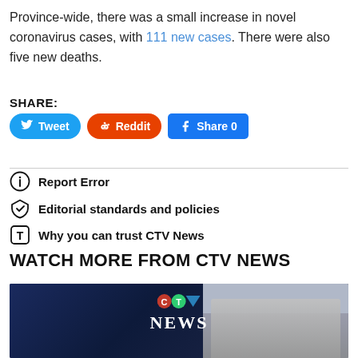Province-wide, there was a small increase in novel coronavirus cases, with 111 new cases. There were also five new deaths.
SHARE:
[Figure (screenshot): Social share buttons: Tweet (Twitter, blue), Reddit (orange), Share 0 (Facebook, blue)]
Report Error
Editorial standards and policies
Why you can trust CTV News
WATCH MORE FROM CTV NEWS
[Figure (screenshot): CTV News video thumbnail showing a news anchor and CTV News logo]